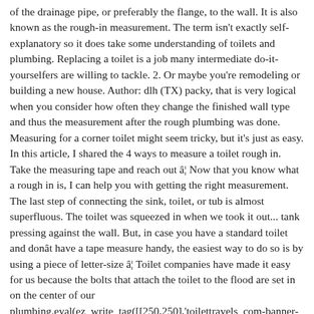of the drainage pipe, or preferably the flange, to the wall. It is also known as the rough-in measurement. The term isn't exactly self-explanatory so it does take some understanding of toilets and plumbing. Replacing a toilet is a job many intermediate do-it-yourselfers are willing to tackle. 2. Or maybe you're remodeling or building a new house. Author: dlh (TX) packy, that is very logical when you consider how often they change the finished wall type and thus the measurement after the rough plumbing was done. Measuring for a corner toilet might seem tricky, but it's just as easy. In this article, I shared the 4 ways to measure a toilet rough in. Take the measuring tape and reach out â¦ Now that you know what a rough in is, I can help you with getting the right measurement. The last step of connecting the sink, toilet, or tub is almost superfluous. The toilet was squeezed in when we took it out... tank pressing against the wall. But, in case you have a standard toilet and donât have a tape measure handy, the easiest way to do so is by using a piece of letter-size â¦ Toilet companies have made it easy for us because the bolts that attach the toilet to the flood are set in on the center of our plumbing.eval(ez_write_tag([[250,250],'toilettravels_com-banner-